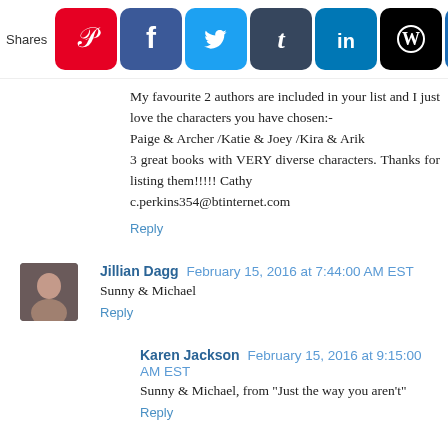[Figure (infographic): Social share bar with icons: Pinterest (red), Facebook (dark blue), Twitter (light blue), Tumblr (dark blue-grey), LinkedIn (blue), WordPress (black), and a crown icon (blue). Labeled 'Shares' on the left.]
My favourite 2 authors are included in your list and I just love the characters you have chosen:-
Paige & Archer /Katie & Joey /Kira & Arik
3 great books with VERY diverse characters. Thanks for listing them!!!!! Cathy
c.perkins354@btinternet.com
Reply
Jillian Dagg  February 15, 2016 at 7:44:00 AM EST
Sunny & Michael
Reply
Karen Jackson  February 15, 2016 at 9:15:00 AM EST
Sunny & Michael, from "Just the way you aren't"
Reply